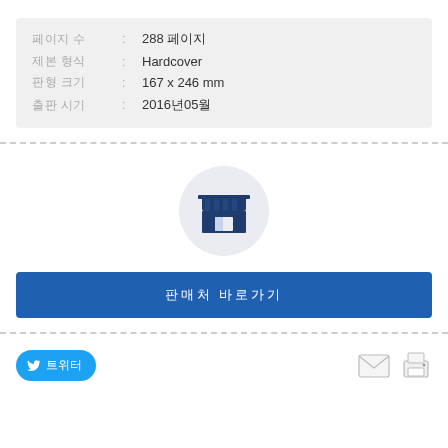| 페이지 수 | : | 288 페이지 |
| 제본 형식 | : | Hardcover |
| 판형 크기 | : | 167 x 246 mm |
| 출판 시기 | : | 2016년05월 |
[Figure (illustration): Store/shop icon inside a light gray circle — a stylized storefront with awning stripes and window, rendered in dark navy blue]
판매처 바로가기
트위터 공유
[Figure (illustration): Email envelope icon and printer icon]
트위터